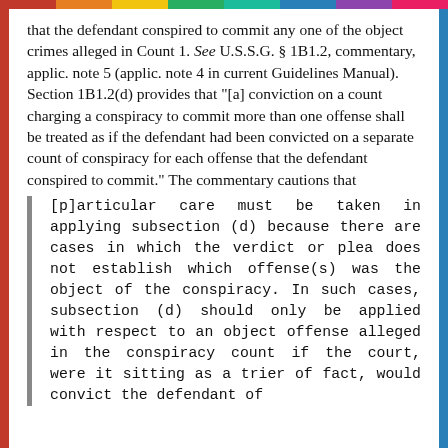that the defendant conspired to commit any one of the object crimes alleged in Count 1. See U.S.S.G. § 1B1.2, commentary, applic. note 5 (applic. note 4 in current Guidelines Manual). Section 1B1.2(d) provides that "[a] conviction on a count charging a conspiracy to commit more than one offense shall be treated as if the defendant had been convicted on a separate count of conspiracy for each offense that the defendant conspired to commit." The commentary cautions that
[p]articular care must be taken in applying subsection (d) because there are cases in which the verdict or plea does not establish which offense(s) was the object of the conspiracy. In such cases, subsection (d) should only be applied with respect to an object offense alleged in the conspiracy count if the court, were it sitting as a trier of fact, would convict the defendant of